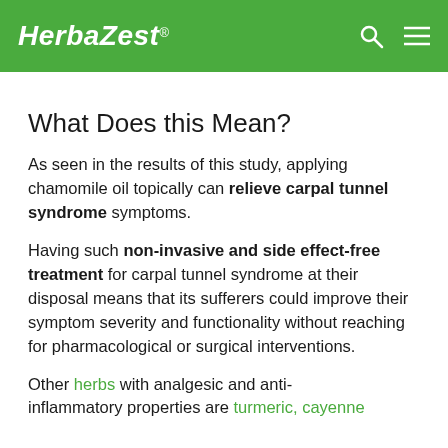HerbaZest.
What Does this Mean?
As seen in the results of this study, applying chamomile oil topically can relieve carpal tunnel syndrome symptoms.
Having such non-invasive and side effect-free treatment for carpal tunnel syndrome at their disposal means that its sufferers could improve their symptom severity and functionality without reaching for pharmacological or surgical interventions.
Other herbs with analgesic and anti-inflammatory properties are turmeric, cayenne